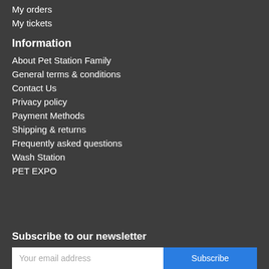My orders
My tickets
Information
About Pet Station Family
General terms & conditions
Contact Us
Privacy policy
Payment Methods
Shipping & returns
Frequently asked questions
Wash Station
PET EXPO
Subscribe to our newsletter
Your email address
Subscribe